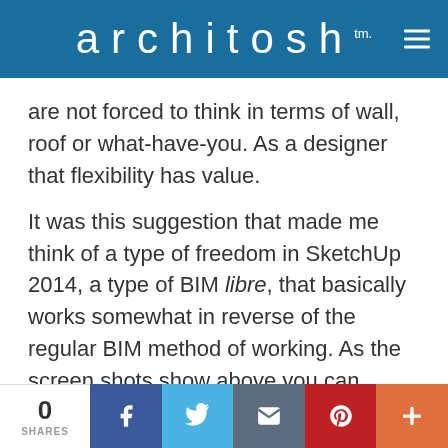architosh™
are not forced to think in terms of wall, roof or what-have-you. As a designer that flexibility has value.
It was this suggestion that made me think of a type of freedom in SketchUp 2014, a type of BIM libre, that basically works somewhat in reverse of the regular BIM method of working. As the screen shots show above you can model just like you always have in SketchUp 2014. It's just that after you have modeled you can selectively go back and
0 SHARES | Facebook | Twitter | Email | Pinterest | More